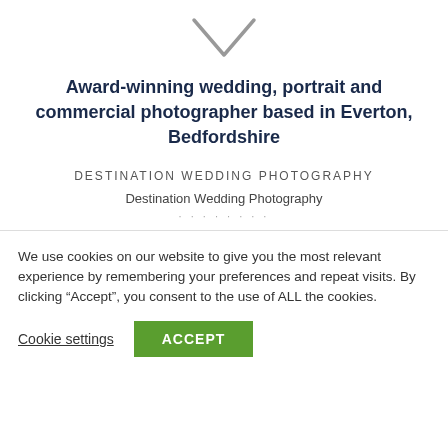[Figure (illustration): A downward-pointing chevron/arrow icon in light gray outline style]
Award-winning wedding, portrait and commercial photographer based in Everton, Bedfordshire
DESTINATION WEDDING PHOTOGRAPHY
Destination Wedding Photography
We use cookies on our website to give you the most relevant experience by remembering your preferences and repeat visits. By clicking “Accept”, you consent to the use of ALL the cookies.
Cookie settings  ACCEPT